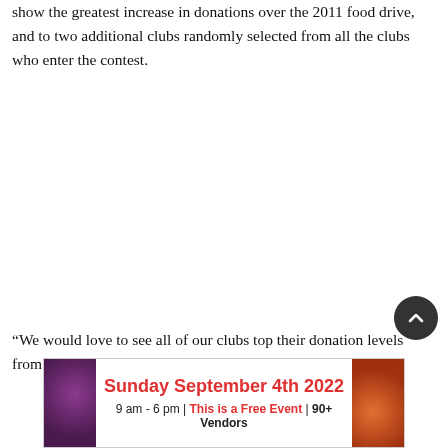show the greatest increase in donations over the 2011 food drive, and to two additional clubs randomly selected from all the clubs who enter the contest.
“We would love to see all of our clubs top their donation levels from last year,” said Curves founder Diane Heavi…
[Figure (other): Advertisement banner for a Sunday September 4th 2022 event, 9 am - 6 pm, This is a Free Event, 90+ Vendors, with purple cabbage and orange pumpkin images on sides.]